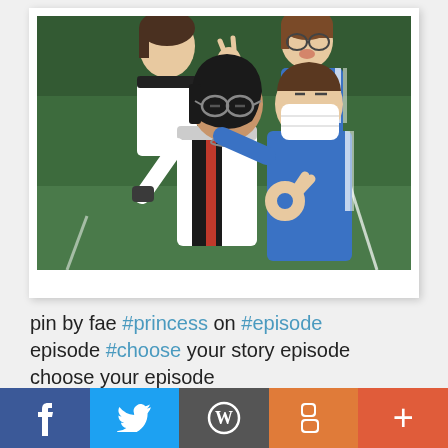[Figure (illustration): Anime/cartoon style illustration of four young people in sports jerseys posing together on a sports field. One girl with short black hair wearing glasses and a German soccer jersey, one boy wearing a blue jersey with a medical mask over his face, and two other figures in the background. The scene has a sports field with white lines and green background.]
pin by fae #princess on #episode episode #choose your story episode choose your episode
f  [twitter bird]  [wordpress W]  B  +